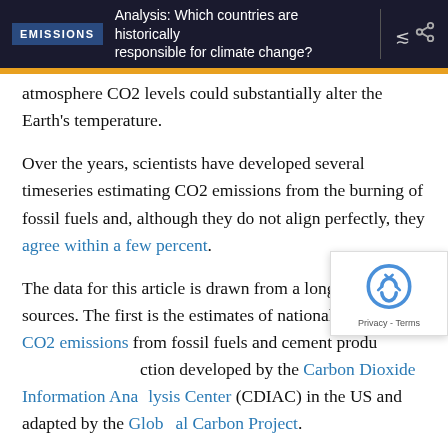EMISSIONS | Analysis: Which countries are historically responsible for climate change?
atmosphere CO2 levels could substantially alter the Earth's temperature.
Over the years, scientists have developed several timeseries estimating CO2 emissions from the burning of fossil fuels and, although they do not align perfectly, they agree within a few percent.
The data for this article is drawn from a long list of sources. The first is the estimates of national historical CO2 emissions from fossil fuels and cement production developed by the Carbon Dioxide Information Analysis Center (CDIAC) in the US and adapted by the Global Carbon Project.
The CDIAC figures, now maintained and updated by the